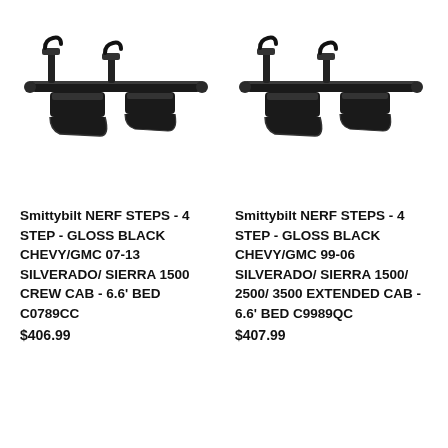[Figure (photo): Smittybilt 4-step nerf bar/running board in gloss black, showing mounting brackets and step pads, left product]
Smittybilt NERF STEPS - 4 STEP - GLOSS BLACK CHEVY/GMC 07-13 SILVERADO/ SIERRA 1500 CREW CAB - 6.6' BED C0789CC
$406.99
[Figure (photo): Smittybilt 4-step nerf bar/running board in gloss black, showing mounting brackets and step pads, right product]
Smittybilt NERF STEPS - 4 STEP - GLOSS BLACK CHEVY/GMC 99-06 SILVERADO/ SIERRA 1500/ 2500/ 3500 EXTENDED CAB - 6.6' BED C9989QC
$407.99